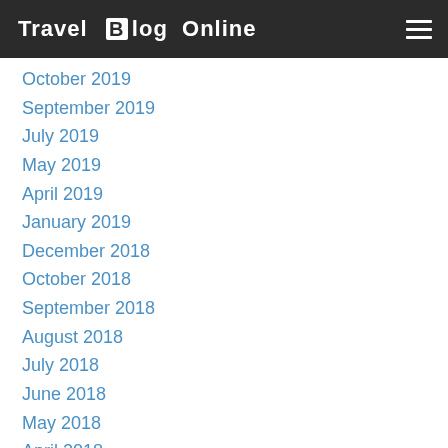Travel Blog Online
October 2019
September 2019
July 2019
May 2019
April 2019
January 2019
December 2018
October 2018
September 2018
August 2018
July 2018
June 2018
May 2018
April 2018
March 2018
February 2018
January 2018